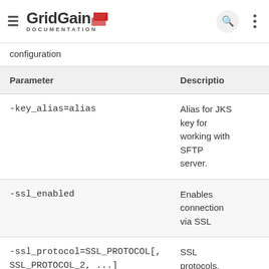GridGain DOCUMENTATION
configuration
| Parameter | Description |
| --- | --- |
| -key_alias=alias | Alias for JKS key for working with SFTP server. |
| -ssl_enabled | Enables connection via SSL |
| -ssl_protocol=SSL_PROTOCOL[, SSL_PROTOCOL_2, ...] | SSL protocols, by default |